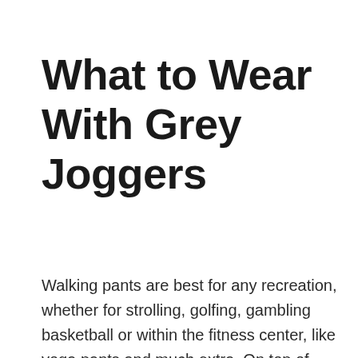What to Wear With Grey Joggers
Walking pants are best for any recreation, whether for strolling, golfing, gambling basketball or within the fitness center, like yoga pants and much extra. On top of that, they also can be worn indoors as they're excellent and relaxed. But do you know what to wear with grey joggers? If yes, then it's ok. But if no then don't be